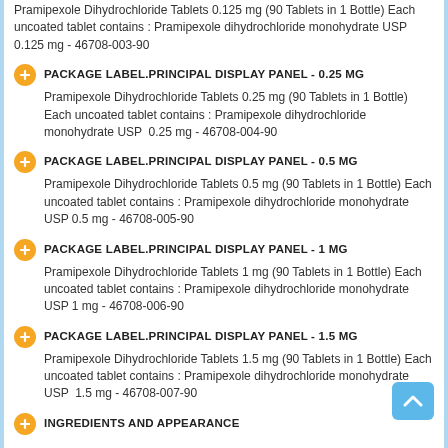Pramipexole Dihydrochloride Tablets 0.125 mg (90 Tablets in 1 Bottle) Each uncoated tablet contains : Pramipexole dihydrochloride monohydrate USP 0.125 mg - 46708-003-90
PACKAGE LABEL.PRINCIPAL DISPLAY PANEL - 0.25 MG
Pramipexole Dihydrochloride Tablets 0.25 mg (90 Tablets in 1 Bottle) Each uncoated tablet contains : Pramipexole dihydrochloride monohydrate USP  0.25 mg - 46708-004-90
PACKAGE LABEL.PRINCIPAL DISPLAY PANEL - 0.5 MG
Pramipexole Dihydrochloride Tablets 0.5 mg (90 Tablets in 1 Bottle) Each uncoated tablet contains : Pramipexole dihydrochloride monohydrate USP 0.5 mg - 46708-005-90
PACKAGE LABEL.PRINCIPAL DISPLAY PANEL - 1 MG
Pramipexole Dihydrochloride Tablets 1 mg (90 Tablets in 1 Bottle) Each uncoated tablet contains : Pramipexole dihydrochloride monohydrate USP 1 mg - 46708-006-90
PACKAGE LABEL.PRINCIPAL DISPLAY PANEL - 1.5 MG
Pramipexole Dihydrochloride Tablets 1.5 mg (90 Tablets in 1 Bottle) Each uncoated tablet contains : Pramipexole dihydrochloride monohydrate USP  1.5 mg - 46708-007-90
INGREDIENTS AND APPEARANCE